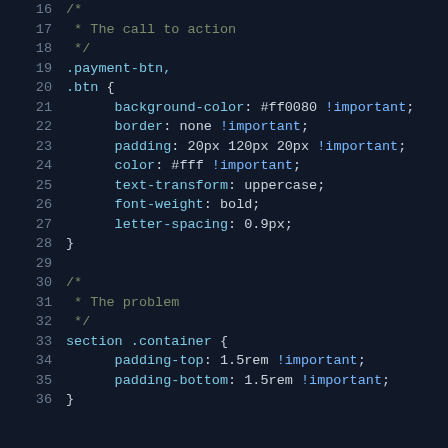[Figure (screenshot): Code editor screenshot showing CSS code with line numbers 16-36. Dark background with syntax highlighting. Shows CSS for .payment-btn and .btn selectors, and section .container selector with padding properties.]